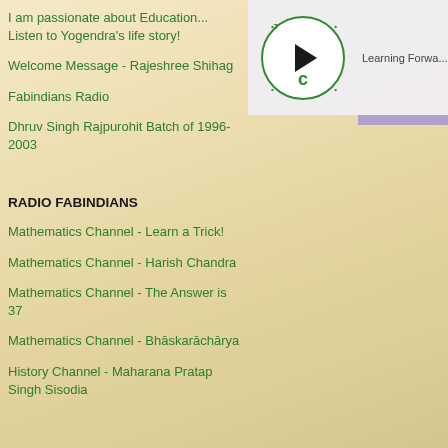I am passionate about Education... Listen to Yogendra's life story!
Welcome Message - Rajeshree Shihag
Fabindians Radio
Dhruv Singh Rajpurohit Batch of 1996-2003
[Figure (other): Circular play button with green border and black play triangle, with dots and letters around the circle]
Learning Forwa...
RADIO FABINDIANS
Mathematics Channel - Learn a Trick!
Mathematics Channel - Harish Chandra
Mathematics Channel - The Answer is 37
Mathematics Channel - Bhāskarāchārya
History Channel - Maharana Pratap Singh Sisodia
HAPPY TEACHERS